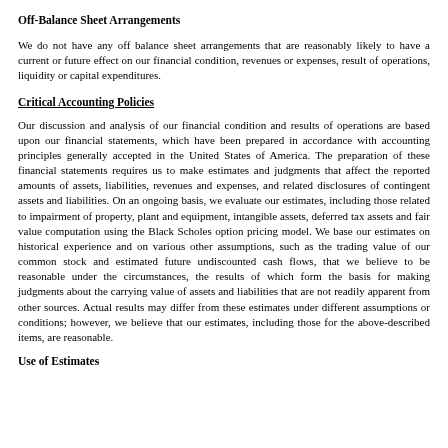Off-Balance Sheet Arrangements
We do not have any off balance sheet arrangements that are reasonably likely to have a current or future effect on our financial condition, revenues or expenses, result of operations, liquidity or capital expenditures.
Critical Accounting Policies
Our discussion and analysis of our financial condition and results of operations are based upon our financial statements, which have been prepared in accordance with accounting principles generally accepted in the United States of America. The preparation of these financial statements requires us to make estimates and judgments that affect the reported amounts of assets, liabilities, revenues and expenses, and related disclosures of contingent assets and liabilities. On an ongoing basis, we evaluate our estimates, including those related to impairment of property, plant and equipment, intangible assets, deferred tax assets and fair value computation using the Black Scholes option pricing model. We base our estimates on historical experience and on various other assumptions, such as the trading value of our common stock and estimated future undiscounted cash flows, that we believe to be reasonable under the circumstances, the results of which form the basis for making judgments about the carrying value of assets and liabilities that are not readily apparent from other sources. Actual results may differ from these estimates under different assumptions or conditions; however, we believe that our estimates, including those for the above-described items, are reasonable.
Use of Estimates